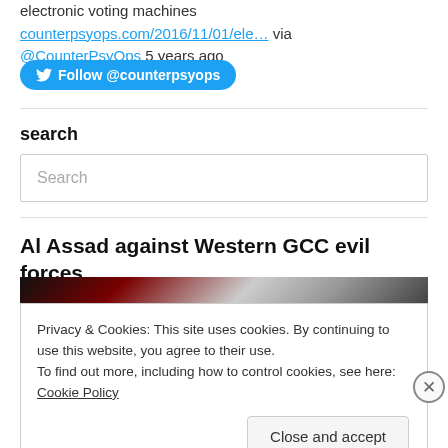electronic voting machines counterpsyops.com/2016/11/01/ele... via @CounterPsyOps 5 years ago
[Figure (other): Twitter Follow @counterpsyops button in blue rounded rectangle]
search
Search (search input box placeholder)
Al Assad against Western GCC evil forces
[Figure (photo): Partial image strip showing dark and reddish tones at top of article]
Privacy & Cookies: This site uses cookies. By continuing to use this website, you agree to their use.
To find out more, including how to control cookies, see here: Cookie Policy
Close and accept